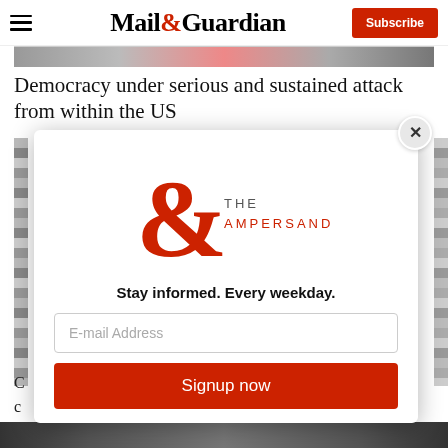Mail&Guardian — Subscribe
[Figure (photo): Cropped photo strip at top of article]
Democracy under serious and sustained attack from within the US
[Figure (infographic): The Ampersand newsletter modal popup with logo, tagline 'Stay informed. Every weekday.', email input field, and 'Signup now' button]
C... c...
[Figure (photo): Partial photo visible at bottom of page]